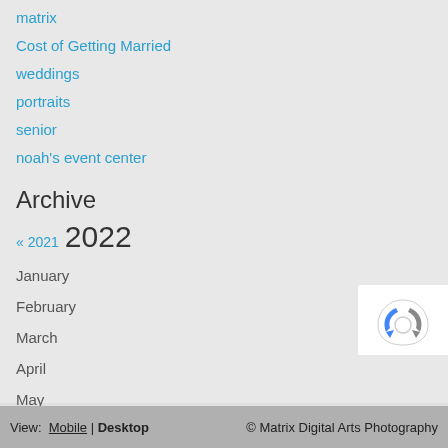matrix
Cost of Getting Married
weddings
portraits
senior
noah's event center
Archive
« 2021  2022
January
February
March
April
May
June
July
August
View: Mobile | Desktop   © Matrix Digital Arts Photography